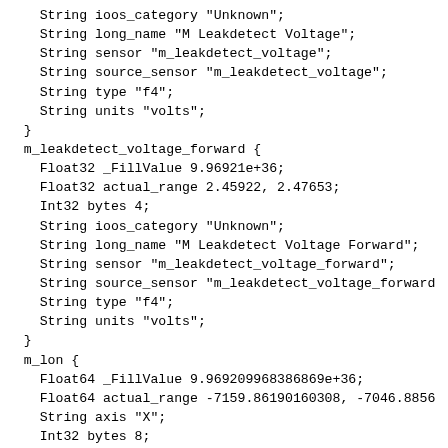String ioos_category "Unknown";
    String long_name "M Leakdetect Voltage";
    String sensor "m_leakdetect_voltage";
    String source_sensor "m_leakdetect_voltage";
    String type "f4";
    String units "volts";
  }
  m_leakdetect_voltage_forward {
    Float32 _FillValue 9.96921e+36;
    Float32 actual_range 2.45922, 2.47653;
    Int32 bytes 4;
    String ioos_category "Unknown";
    String long_name "M Leakdetect Voltage Forward";
    String sensor "m_leakdetect_voltage_forward";
    String source_sensor "m_leakdetect_voltage_forward
    String type "f4";
    String units "volts";
  }
  m_lon {
    Float64 _FillValue 9.969209968386869e+36;
    Float64 actual_range -7159.86190160308, -7046.8856
    String axis "X";
    Int32 bytes 8;
    Float64 colorBarMaximum 20000.0;
    Float64 colorBarMinimum -20000.0;
    String comment "Dead-reckoned longitude calculoned